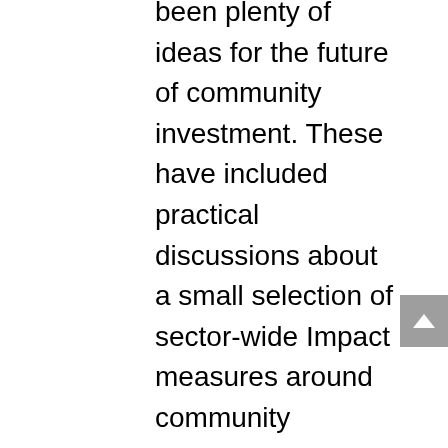been plenty of ideas for the future of community investment. These have included practical discussions about a small selection of sector-wide Impact measures around community investment, as well as a how to create a more systematic picture of the funding and spending on community investment across the sector. In addition, there have also been discussions about how to align community investment with ongoing policy developments, agendas and technological developments.